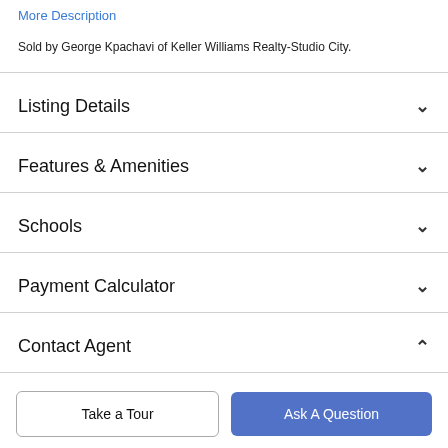More Description
Sold by George Kpachavi of Keller Williams Realty-Studio City.
Listing Details
Features & Amenities
Schools
Payment Calculator
Contact Agent
Take a Tour
Ask A Question